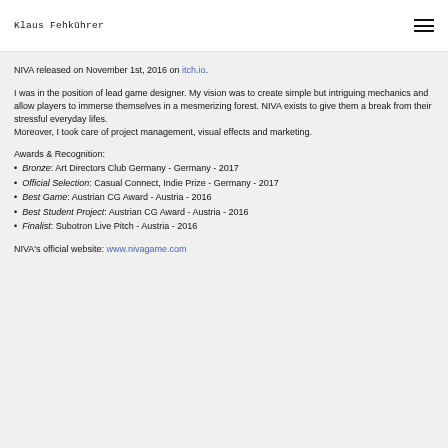Klaus Fehkührer
NIVA released on November 1st, 2016 on itch.io.
I was in the position of lead game designer. My vision was to create simple but intriguing mechanics and allow players to immerse themselves in a mesmerizing forest. NIVA exists to give them a break from their stressful everyday lifes.
Moreover, I took care of project management, visual effects and marketing.
Awards & Recognition:
Bronze: Art Directors Club Germany - Germany - 2017
Official Selection: Casual Connect, Indie Prize - Germany - 2017
Best Game: Austrian CG Award - Austria - 2016
Best Student Project: Austrian CG Award - Austria - 2016
Finalist: Subotron Live Pitch - Austria - 2016
NIVA's official website: www.nivagame.com